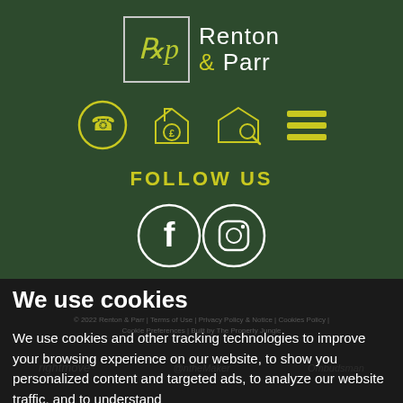[Figure (logo): Renton & Parr estate agency logo with stylized 'rp' monogram in a square border and company name in white and yellow-green text on dark green background]
[Figure (infographic): Navigation icons row: phone (circle), house with pound sign, house with magnifier, hamburger menu - all in yellow-green on dark green]
FOLLOW US
[Figure (infographic): Social media icons: Facebook (f) and Instagram camera icon, both white circles on dark green]
We use cookies
© 2022 Renton & Parr | Terms of Use | Privacy Policy & Notice | Cookies Policy | Cookie Preferences | Built by The Property Jungle
We use cookies and other tracking technologies to improve your browsing experience on our website, to show you personalized content and targeted ads, to analyze our website traffic, and to understand